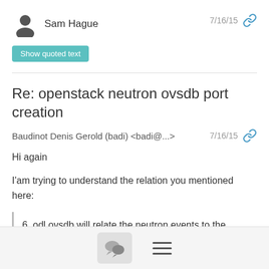Sam Hague
7/16/15
Show quoted text
Re: openstack neutron ovsdb port creation
Baudinot Denis Gerold (badi) <badi@...>
7/16/15
Hi again
I'am trying to understand the relation you mentioned here:
6. odl ovsdb will relate the neutron events to the ovsdb events and build tunnels and push flows as needed.
I can't figure this out in the case of a neutron port creation. The